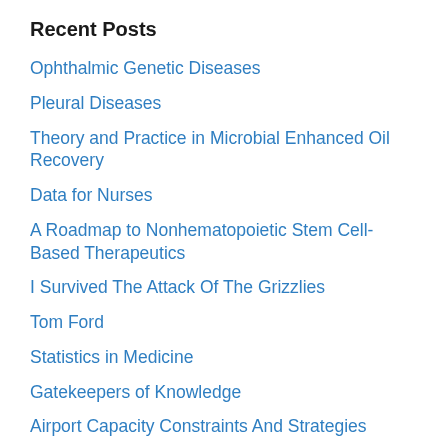Recent Posts
Ophthalmic Genetic Diseases
Pleural Diseases
Theory and Practice in Microbial Enhanced Oil Recovery
Data for Nurses
A Roadmap to Nonhematopoietic Stem Cell-Based Therapeutics
I Survived The Attack Of The Grizzlies
Tom Ford
Statistics in Medicine
Gatekeepers of Knowledge
Airport Capacity Constraints And Strategies